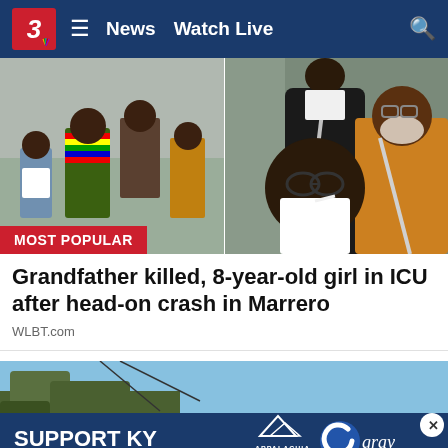3 News | Watch Live
[Figure (photo): Left: A young girl and woman in colorful striped sweater outdoors with a 'MOST POPULAR' red badge overlay. Right: A woman with glasses taking a selfie with an older man in an orange shirt in a car.]
Grandfather killed, 8-year-old girl in ICU after head-on crash in Marrero
WLBT.com
[Figure (infographic): Advertisement banner: SUPPORT KY FLOOD RELIEF with Appalachia Rises logo and gray television network logo on blue background over a photo of trees against blue sky.]